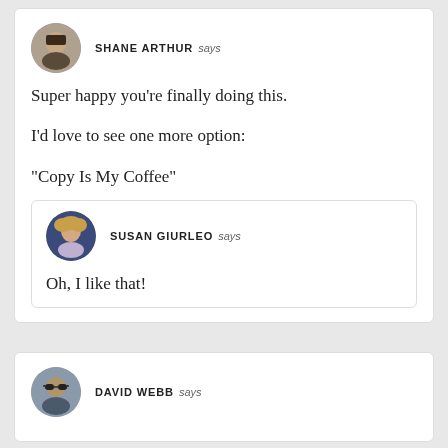SHANE ARTHUR says
Super happy you’re finally doing this.

I’d love to see one more option:

“Copy Is My Coffee”
SUSAN GIURLEO says
Oh, I like that!
DAVID WEBB says